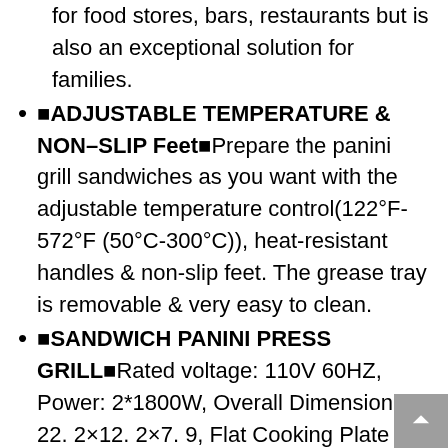for food stores, bars, restaurants but is also an exceptional solution for families.
■ADJUSTABLE TEMPERATURE & NON–SLIP Feet■Prepare the panini grill sandwiches as you want with the adjustable temperature control(122°F-572°F (50°C-300°C)), heat-resistant handles & non-slip feet. The grease tray is removable & very easy to clean.
■SANDWICH PANINI PRESS GRILL■Rated voltage: 110V 60HZ, Power: 2*1800W, Overall Dimension: 22. 2×12. 2×7. 9, Flat Cooking Plate Dimension: 19"x9", Net weight: 61lbs/28kg Cook with grill closed, or open to double the size and use as griddle, Cooks perfectly crisp bacon with